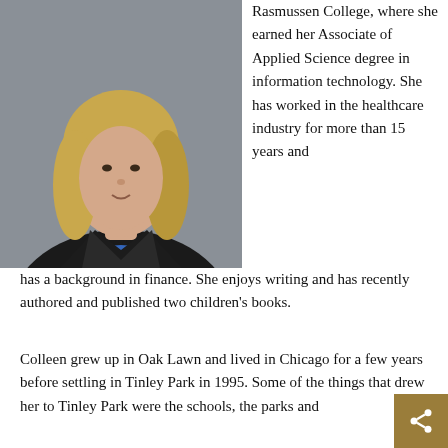[Figure (photo): Portrait photo of a woman with blonde hair wearing a dark blazer over a blue top, professional headshot]
Rasmussen College, where she earned her Associate of Applied Science degree in information technology. She has worked in the healthcare industry for more than 15 years and has a background in finance. She enjoys writing and has recently authored and published two children's books.
Colleen grew up in Oak Lawn and lived in Chicago for a few years before settling in Tinley Park in 1995. Some of the things that drew her to Tinley Park were the schools, the parks and seeing all the new development happening around town. She is the mother of three daughters.
Colleen has been an active volunteer with Girl Scouts, as well as her children's various school events over the years. She is co-founder of the Tinley Park Citizen Volunteer Committee that helped serve the senior citizen community by assisting them